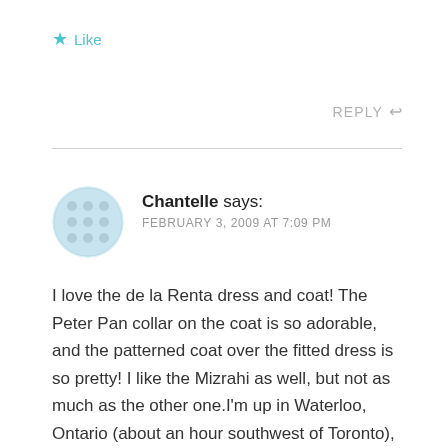★ Like
REPLY ↩
Chantelle says:
FEBRUARY 3, 2009 AT 7:09 PM
I love the de la Renta dress and coat! The Peter Pan collar on the coat is so adorable, and the patterned coat over the fitted dress is so pretty! I like the Mizrahi as well, but not as much as the other one.I'm up in Waterloo, Ontario (about an hour southwest of Toronto), and it's cold and snowy here, too. I have dresses and I want to wear them but it's WAY too cold to even think about it. Sigh.I've already picked out my summer dress patterns and I have a ton of